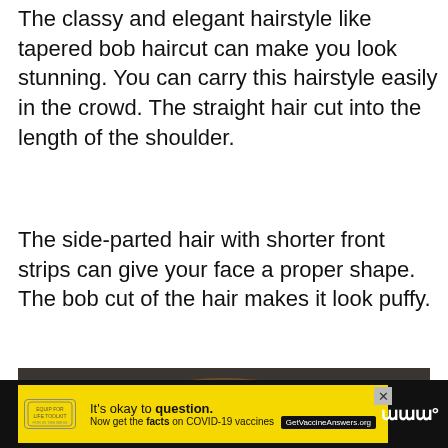The classy and elegant hairstyle like tapered bob haircut can make you look stunning. You can carry this hairstyle easily in the crowd. The straight hair cut into the length of the shoulder.
The side-parted hair with shorter front strips can give your face a proper shape. The bob cut of the hair makes it look puffy.
[Figure (photo): Close-up photo of a person's head showing brown hair with highlights styled in a bob cut, viewed from behind/side angle against a dark background.]
[Figure (infographic): Advertisement banner: Yellow background with text 'It's okay to question. Now get the facts on COVID-19 vaccines' with GetVaccineAnswers.org button and a stamped logo on left. Black bar with CNN logo on right. Close X button top right.]